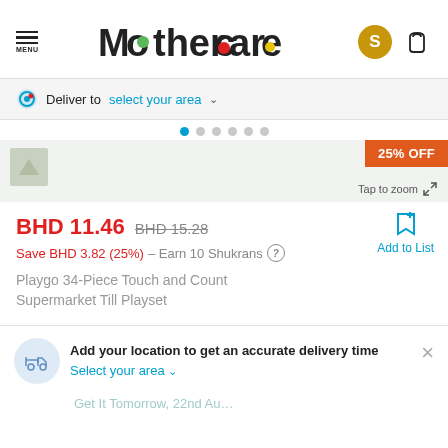[Figure (logo): Mothercare logo with colorful dots inside letters]
Deliver to  select your area  ∨
25% OFF
Tap to zoom
BHD 11.46  BHD 15.28
Save BHD 3.82 (25%) – Earn 10 Shukrans
Playgo 34-Piece Touch and Count Supermarket Till Playset
Add to List
Add your location to get an accurate delivery time
Select your area ∨
Get It Tomorrow, 22nd Au…